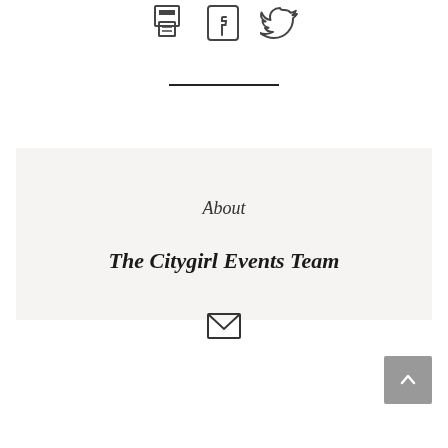[Figure (other): Three social/sharing icons at top: print/save icon, Facebook icon, Twitter bird icon]
[Figure (other): Horizontal divider line]
About
The Citygirl Events Team
[Figure (other): Email/envelope icon]
[Figure (other): Scroll-to-top button with upward caret arrow]